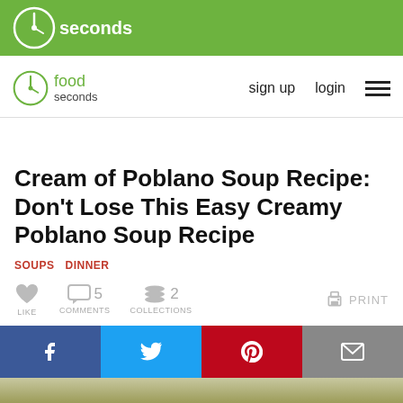30 seconds
[Figure (logo): 30 seconds food logo with navigation links: sign up, login, hamburger menu]
Cream of Poblano Soup Recipe: Don't Lose This Easy Creamy Poblano Soup Recipe
SOUPS   DINNER
LIKE   5 COMMENTS   2 COLLECTIONS   PRINT
[Figure (infographic): Social share buttons: Facebook, Twitter, Pinterest, Email]
[Figure (photo): Close-up photo of poblano soup]